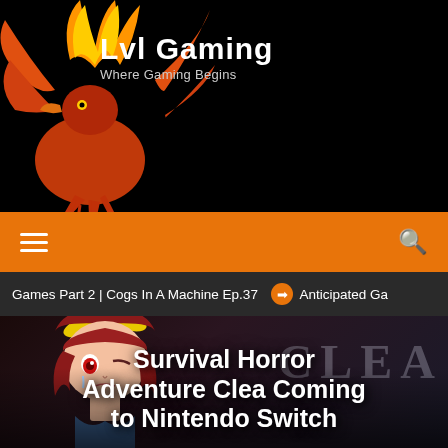Lvl Gaming - Where Gaming Begins
[Figure (logo): Orange/red phoenix bird logo with flames, gaming website mascot]
[Figure (infographic): Orange navigation bar with hamburger menu icon on left and search icon on right]
Games Part 2 | Cogs In A Machine Ep.37   Anticipated Ga
[Figure (screenshot): Hero image showing anime-style character with red hair and yellow bow, with CLEA watermark text, overlaid with article title 'Survival Horror Adventure Clea Coming to Nintendo Switch']
Survival Horror Adventure Clea Coming to Nintendo Switch